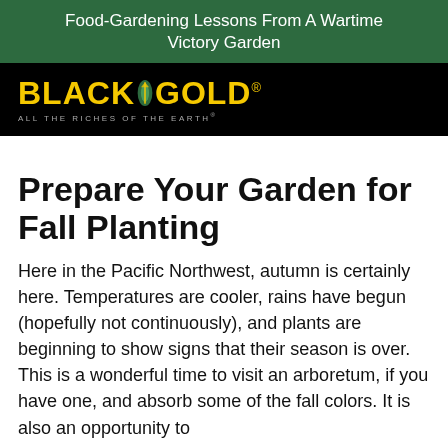Food-Gardening Lessons From A Wartime Victory Garden
[Figure (logo): Black Gold logo — bold yellow 'BLACK GOLD' text with a green leaf diamond icon, on black background, with tagline 'ALL THE RICHES OF THE EARTH']
Prepare Your Garden for Fall Planting
Here in the Pacific Northwest, autumn is certainly here. Temperatures are cooler, rains have begun (hopefully not continuously), and plants are beginning to show signs that their season is over. This is a wonderful time to visit an arboretum, if you have one, and absorb some of the fall colors. It is also an opportunity to